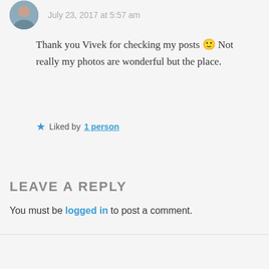July 23, 2017 at 5:57 am
Thank you Vivek for checking my posts 🙂 Not really my photos are wonderful but the place.
★ Liked by 1 person
Log in to Reply
LEAVE A REPLY
You must be logged in to post a comment.
[Figure (other): Follow Solo female traveller button with WordPress logo]